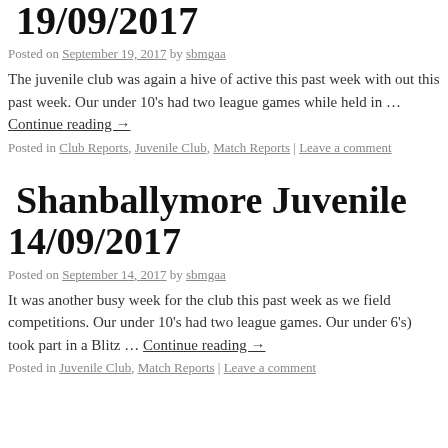19/09/2017
Posted on September 19, 2017 by sbmgaa
The juvenile club was again a hive of active this past week with out this past week. Our under 10's had two league games while held in … Continue reading →
Posted in Club Reports, Juvenile Club, Match Reports | Leave a comment
Shanballymore Juvenile 14/09/2017
Posted on September 14, 2017 by sbmgaa
It was another busy week for the club this past week as we field competitions. Our under 10's had two league games. Our under 6's) took part in a Blitz … Continue reading →
Posted in Juvenile Club, Match Reports | Leave a comment